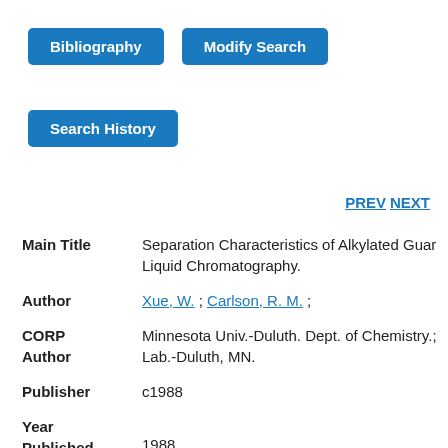Bibliography | Modify Search
Search History
PREV NEXT
Main Title: Separation Characteristics of Alkylated Guar Liquid Chromatography.
Author: Xue, W. ; Carlson, R. M. ;
CORP Author: Minnesota Univ.-Duluth. Dept. of Chemistry.; Lab.-Duluth, MN.
Publisher: c1988
Year Published: 1988